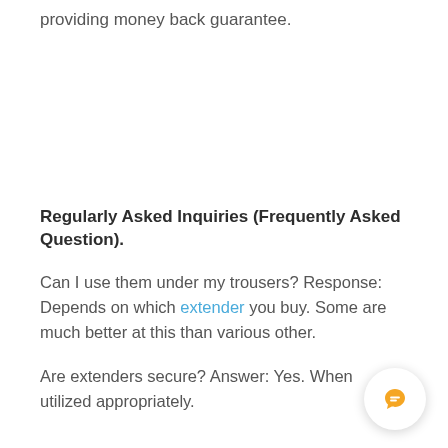providing money back guarantee.
Regularly Asked Inquiries (Frequently Asked Question).
Can I use them under my trousers? Response: Depends on which extender you buy. Some are much better at this than various other.
Are extenders secure? Answer: Yes. When utilized appropriately.